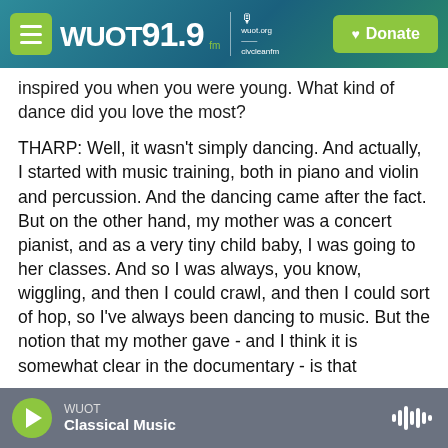WUOT 91.9 FM | wuot.org | Donate
inspired you when you were young. What kind of dance did you love the most?
THARP: Well, it wasn't simply dancing. And actually, I started with music training, both in piano and violin and percussion. And the dancing came after the fact. But on the other hand, my mother was a concert pianist, and as a very tiny child baby, I was going to her classes. And so I was always, you know, wiggling, and then I could crawl, and then I could sort of hop, so I've always been dancing to music. But the notion that my mother gave - and I think it is somewhat clear in the documentary - is that...
WUOT | Classical Music